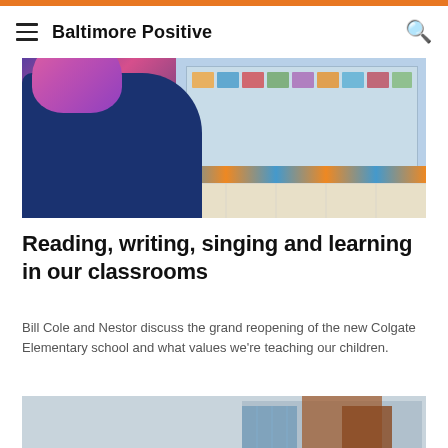Baltimore Positive
[Figure (photo): A child wearing a colorful headband and dark blue jacket in a classroom, with a blue bulletin board and decorated border strip visible on the wall behind them.]
Reading, writing, singing and learning in our classrooms
Bill Cole and Nestor discuss the grand reopening of the new Colgate Elementary school and what values we're teaching our children.
[Figure (photo): Exterior view of a modern school building with brick and glass facade, partially visible from below.]